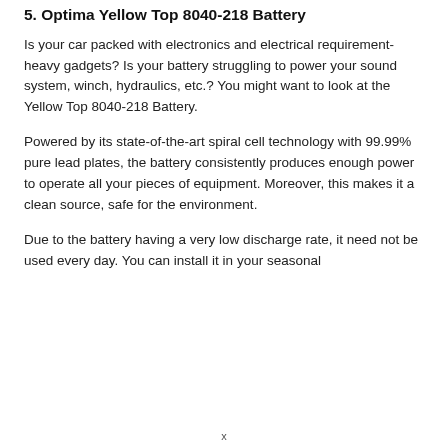5. Optima Yellow Top 8040-218 Battery
Is your car packed with electronics and electrical requirement-heavy gadgets? Is your battery struggling to power your sound system, winch, hydraulics, etc.? You might want to look at the Yellow Top 8040-218 Battery.
Powered by its state-of-the-art spiral cell technology with 99.99% pure lead plates, the battery consistently produces enough power to operate all your pieces of equipment. Moreover, this makes it a clean source, safe for the environment.
Due to the battery having a very low discharge rate, it need not be used every day. You can install it in your seasonal
x